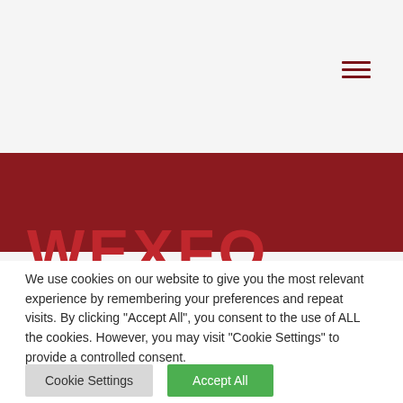[Figure (other): Hamburger menu icon with three horizontal dark red lines in upper right area of page header]
[Figure (other): Dark red banner background strip across the page]
WEXFO
We use cookies on our website to give you the most relevant experience by remembering your preferences and repeat visits. By clicking "Accept All", you consent to the use of ALL the cookies. However, you may visit "Cookie Settings" to provide a controlled consent.
Cookie Settings
Accept All